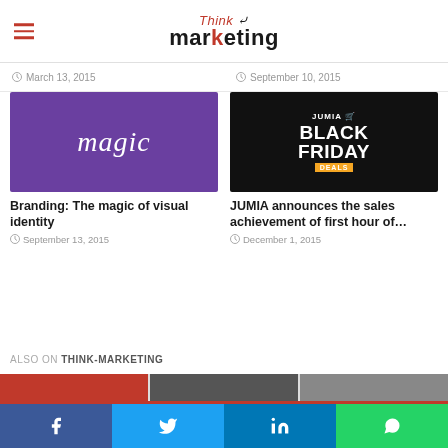Think Marketing
March 13, 2015
September 10, 2015
[Figure (illustration): Milka Magic purple branding image with cursive white 'Magic' text on purple background]
Branding: The magic of visual identity
September 13, 2015
[Figure (photo): JUMIA Black Friday Deals banner with electronics on black background]
JUMIA announces the sales achievement of first hour of…
December 1, 2015
ALSO ON THINK-MARKETING